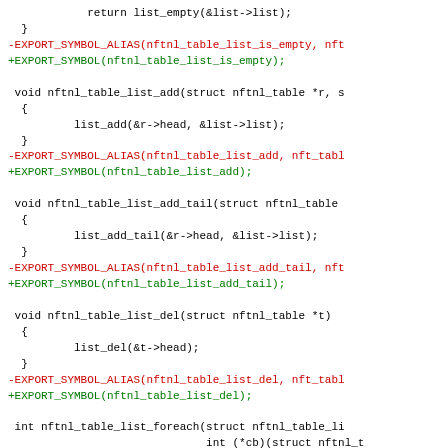[Figure (screenshot): Source code diff showing C function definitions for nftnl table list operations. Lines in red are removed (prefixed with -), lines in green are added (prefixed with +), and lines in blue are git diff hunk headers. Black lines are context.]